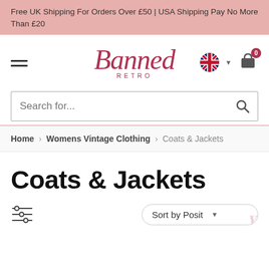Free UK Shipping For Orders Over £50 | USA Shipping Pay No More Than £20
[Figure (logo): Banned Retro logo in red italic script with RETRO in small caps underneath]
Search for...
Home > Womens Vintage Clothing > Coats & Jackets
Coats & Jackets
Sort by Position